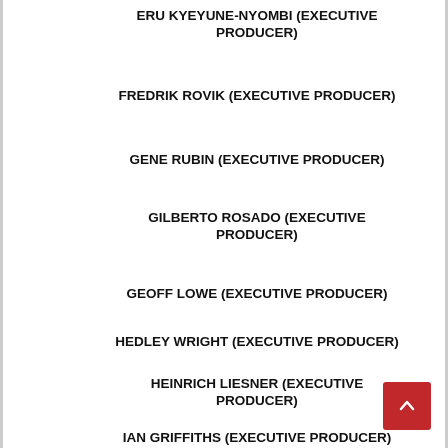ERU KYEYUNE-NYOMBI (EXECUTIVE PRODUCER)
FREDRIK ROVIK (EXECUTIVE PRODUCER)
GENE RUBIN (EXECUTIVE PRODUCER)
GILBERTO ROSADO (EXECUTIVE PRODUCER)
GEOFF LOWE (EXECUTIVE PRODUCER)
HEDLEY WRIGHT (EXECUTIVE PRODUCER)
HEINRICH LIESNER (EXECUTIVE PRODUCER)
IAN GRIFFITHS (EXECUTIVE PRODUCER)